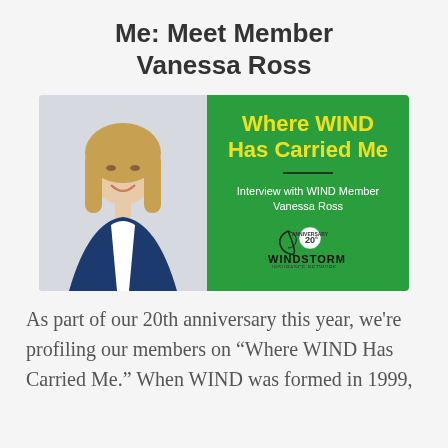Me: Meet Member Vanessa Ross
[Figure (photo): Podcast card image showing a woman with blonde hair in a blue blazer on the left (photo), and green panel on the right with yellow bold text 'Where WIND Has Carried Me', a dark divider line, white text 'Interview with WIND Member Vanessa Ross', and the Windstorm Insurance Network 20th Anniversary logo at the bottom.]
As part of our 20th anniversary this year, we're profiling our members on “Where WIND Has Carried Me.” When WIND was formed in 1999,